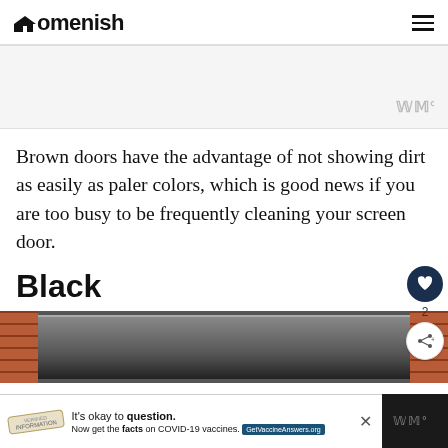Homenish
[Figure (screenshot): Gray advertisement banner area with Mediavine (wt) logo in bottom right]
Brown doors have the advantage of not showing dirt as easily as paler colors, which is good news if you are too busy to be frequently cleaning your screen door.
Black
[Figure (photo): Photo of a black screen door with brick walls on either side]
[Figure (screenshot): COVID-19 vaccine advertisement banner: It's okay to question. Now get the facts on COVID-19 vaccines. GetVaccineAnswers.org]